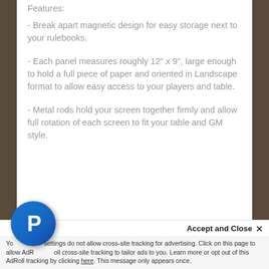Features:
- Break apart magnetic design for easy storage next to your rulebooks.
- Each panel measures roughly 12" x 9", large enough to hold a full piece of paper and oriented in Landscape format to allow easy access to your players and table.
- Metal rods hold your screen together firmly and allow full rotation of each screen to fit your table and GM style.
Accept and Close ×
Your settings do not allow cross-site tracking for advertising. Click on this page to allow AdRoll cross-site tracking to tailor ads to you. Learn more or opt out of this AdRoll tracking by clicking here. This message only appears once.